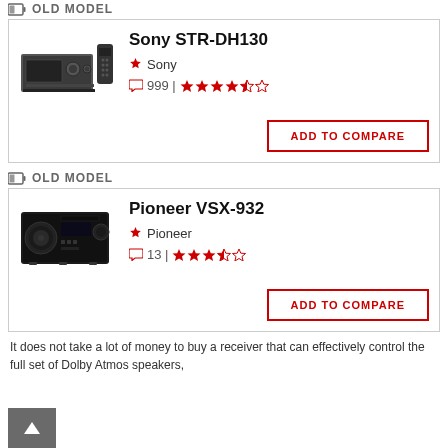OLD MODEL
Sony STR-DH130 | Sony | 999 | 4.5 stars
ADD TO COMPARE
OLD MODEL
Pioneer VSX-932 | Pioneer | 13 | 3.5 stars
ADD TO COMPARE
It does not take a lot of money to buy a receiver that can effectively control the full set of Dolby Atmos speakers, including front, center, and ceiling speakers, as well